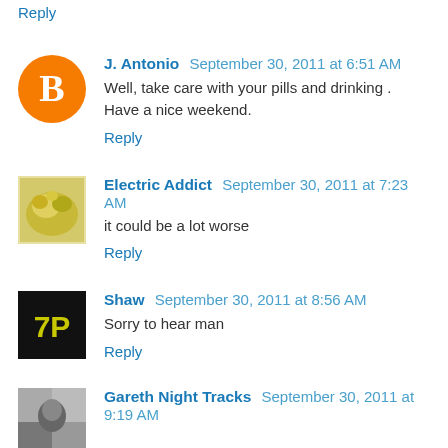Reply
J. Antonio  September 30, 2011 at 6:51 AM
Well, take care with your pills and drinking .
Have a nice weekend.
Reply
Electric Addict  September 30, 2011 at 7:23 AM
it could be a lot worse
Reply
Shaw  September 30, 2011 at 8:56 AM
Sorry to hear man
Reply
Gareth Night Tracks  September 30, 2011 at 9:19 AM